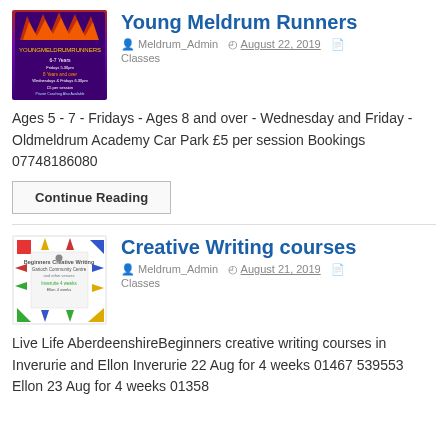Young Meldrum Runners
Meldrum_Admin  August 22, 2019  Classes
Ages 5 - 7 - Fridays - Ages 8 and over - Wednesday and Friday - Oldmeldrum Academy Car Park £5 per session Bookings 07748186080
Continue Reading
Creative Writing courses
Meldrum_Admin  August 21, 2019  Classes
Live Life AberdeenshireBeginners creative writing courses in Inverurie and Ellon Inverurie 22 Aug for 4 weeks 01467 539553 Ellon 23 Aug for 4 weeks 01358